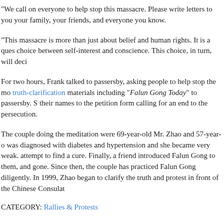"We call on everyone to help stop this massacre. Please write letters to your family, your friends, and everyone you know.
"This massacre is more than just about belief and human rights. It is a question of choice between self-interest and conscience. This choice, in turn, will decide
For two hours, Frank talked to passersby, asking people to help stop the massacre. He distributed truth-clarification materials including "Falun Gong Today" to passersby. Some people signed their names to the petition form calling for an end to the persecution.
The couple doing the meditation were 69-year-old Mr. Zhao and 57-year-old was diagnosed with diabetes and hypertension and she became very weak. attempt to find a cure. Finally, a friend introduced Falun Gong to them, and gone. Since then, the couple has practiced Falun Gong diligently. In 1999, Zhao began to clarify the truth and protest in front of the Chinese Consulate
CATEGORY: Rallies & Protests